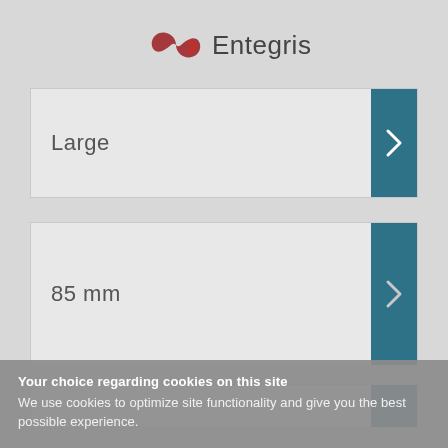[Figure (logo): Entegris company logo with red infinity-like symbol and 'Entegris' text in dark gray]
Large
85 mm
Your choice regarding cookies on this site
We use cookies to optimize site functionality and give you the best possible experience.